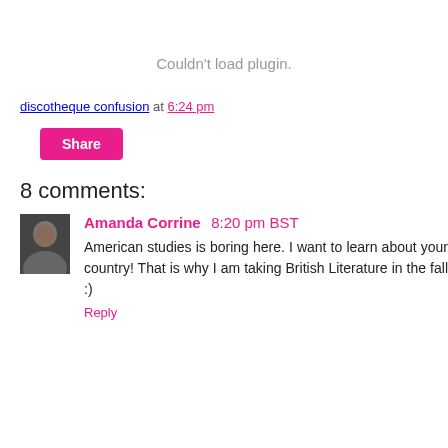Couldn't load plugin.
discotheque confusion at 6:24 pm
Share
8 comments:
Amanda Corrine 8:20 pm BST
American studies is boring here. I want to learn about your country! That is why I am taking British Literature in the fall :)
Reply